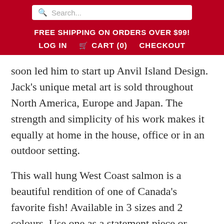Search...
FREE SHIPPING ON ORDERS OVER $99!
LOG IN  CART (0)  CHECKOUT
soon led him to start up Anvil Island Design. Jack's unique metal art is sold throughout North America, Europe and Japan. The strength and simplicity of his work makes it equally at home in the house, office or in an outdoor setting.
This wall hung West Coast salmon is a beautiful rendition of one of Canada's favorite fish! Available in 3 sizes and 2 colours. Use one as a statement piece or several to create an amazing impact wall!